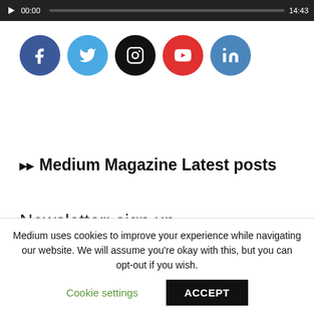[Figure (screenshot): Video player bar showing play button, time 00:00, progress bar, and duration 14:43 on dark background]
[Figure (infographic): Row of five social media icon circles: Facebook (blue), Twitter (light blue), Instagram (black), YouTube (red), LinkedIn (steel blue)]
Medium Magazine Latest posts
Newsletter: sign up
Medium uses cookies to improve your experience while navigating our website. We will assume you're okay with this, but you can opt-out if you wish.
Cookie settings
ACCEPT